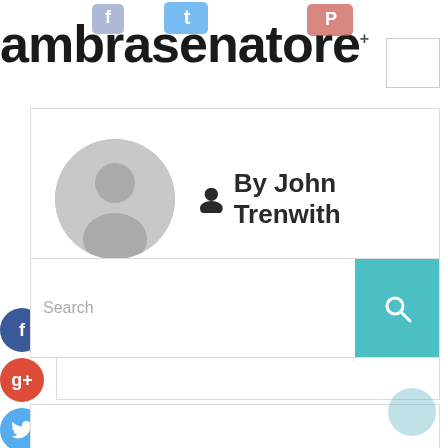ambrasenatore
[Figure (screenshot): Author card with avatar placeholder and author name 'By John Trenwith']
By John Trenwith
[Figure (infographic): Social media sidebar buttons: Facebook (f), Google+ (g+), Twitter, and plus (+) icons]
[Figure (screenshot): Search bar with teal search button containing magnifying glass icon]